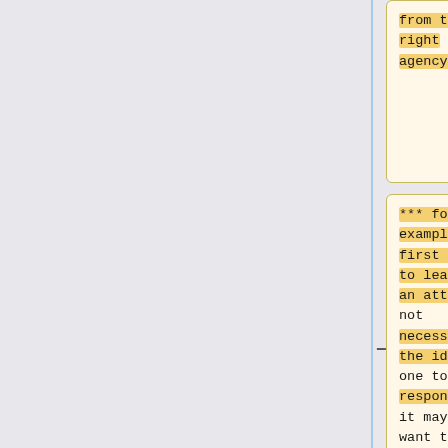from the right agency.
salient when the entire structure is monolithic.
*** for example, the first agency to learn of an attack is not necessarily the ideal one to respond, but it may not want to give up responsibility to another agency (reflecting...
** Ossification: Groupthink may limit innovative approaches to cybersecurity.